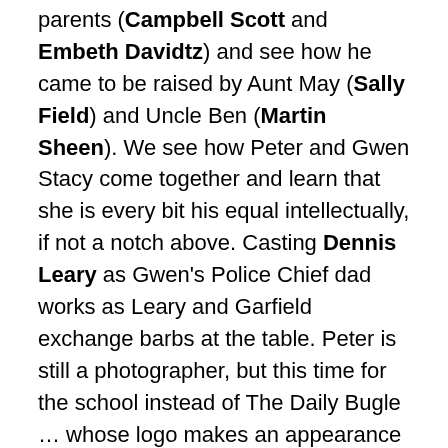parents (Campbell Scott and Embeth Davidtz) and see how he came to be raised by Aunt May (Sally Field) and Uncle Ben (Martin Sheen). We see how Peter and Gwen Stacy come together and learn that she is every bit his equal intellectually, if not a notch above. Casting Dennis Leary as Gwen's Police Chief dad works as Leary and Garfield exchange barbs at the table. Peter is still a photographer, but this time for the school instead of The Daily Bugle … whose logo makes an appearance on TV.
Director Marc Webb was somehow selected for this despite his only feature film being (500) Days of Summer … not exactly a film known for its CGI. Admittedly, the CGI used here is less rushed and cluttered than in previous Spidey films and many of the stunts look to be real stunts instead of the fake stuff. The closing credit cookie clearly sets up the sequel, though I can only guess that the